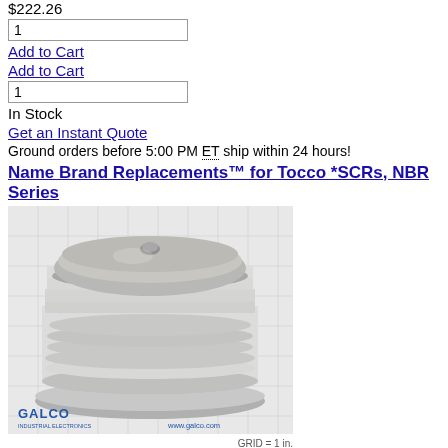$222.26
1
Add to Cart
Add to Cart
1
In Stock
Get an Instant Quote
Ground orders before 5:00 PM ET ship within 24 hours!
Name Brand Replacements™ for Tocco *SCRs, NBR Series
[Figure (photo): Product photo of a large ceramic SCR (Silicon Controlled Rectifier) component, disc-shaped with ridged white ceramic body and metal top, on a grid background. GALCO Industrial Electronics logo and www.galco.com watermark visible. Caption: GRID = 1 in.]
GRID = 1 in.
Overview  Documents
Name Brand Replacements™ for Tocco *SCRs, NBR Series